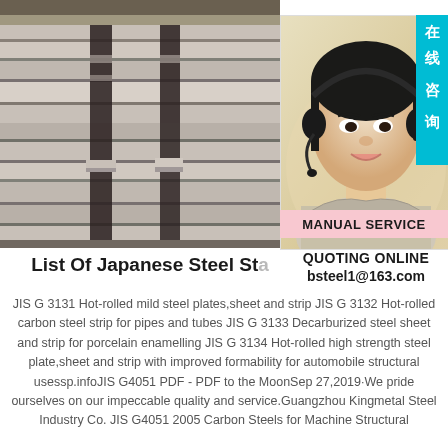[Figure (photo): Photo of stacked steel plates/sheets bundled with metal straps, showing industrial steel product]
[Figure (photo): Photo of a smiling woman wearing a headset/headphones for customer service, with Chinese text badge '在线咨询' (Online Consultation) and 'MANUAL SERVICE' label below]
List Of Japanese Steel Standards
QUOTING ONLINE
bsteel1@163.com
JIS G 3131 Hot-rolled mild steel plates,sheet and strip JIS G 3132 Hot-rolled carbon steel strip for pipes and tubes JIS G 3133 Decarburized steel sheet and strip for porcelain enamelling JIS G 3134 Hot-rolled high strength steel plate,sheet and strip with improved formability for automobile structural usessp.infoJIS G4051 PDF - PDF to the MoonSep 27,2019·We pride ourselves on our impeccable quality and service.Guangzhou Kingmetal Steel Industry Co. JIS G4051 2005 Carbon Steels for Machine Structural